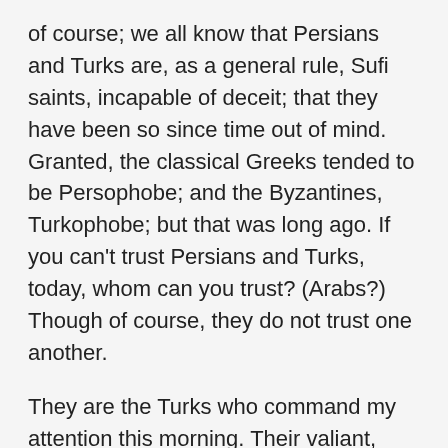of course; we all know that Persians and Turks are, as a general rule, Sufi saints, incapable of deceit; that they have been so since time out of mind. Granted, the classical Greeks tended to be Persophobe; and the Byzantines, Turkophobe; but that was long ago. If you can't trust Persians and Turks, today, whom can you trust? (Arabs?) Though of course, they do not trust one another.
They are the Turks who command my attention this morning. Their valiant, “moderate Islamist,” freely elected and re-elected leader, Erdogan, promised to help us bomb the Da'ish. (Turkey is, technically, still in NATO.) But oh look, he's bombing the Kurds by mistake. (Our most reliable allies in the theatre; to whose territories all the refugee Christians run.)
I don’t expect gentle reader to follow; I can hardly follow